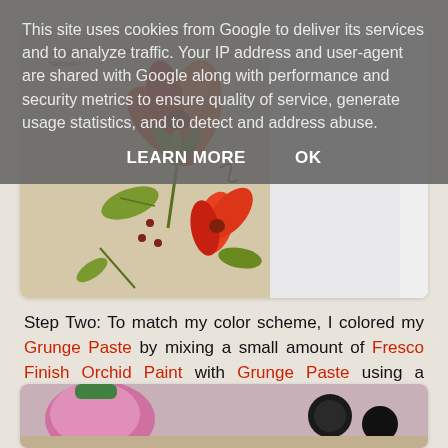[Figure (photo): A close-up photo of a stamp or illustrated paper showing colorful flowers (red/orange lotus-like blooms with green leaves and stems) on a beige/tan background, partially overlapping a blank white card or paper.]
This site uses cookies from Google to deliver its services and to analyze traffic. Your IP address and user-agent are shared with Google along with performance and security metrics to ensure quality of service, generate usage statistics, and to detect and address abuse.
LEARN MORE    OK
Step Two: To match my color scheme, I colored my Grunge Paste by mixing a small amount of Fresco Finish Orchid Paint with Grunge Paste using a palette knife.
[Figure (photo): Partial view of craft supplies including what appears to be a pink paint/paste container and other art supply items on a surface.]